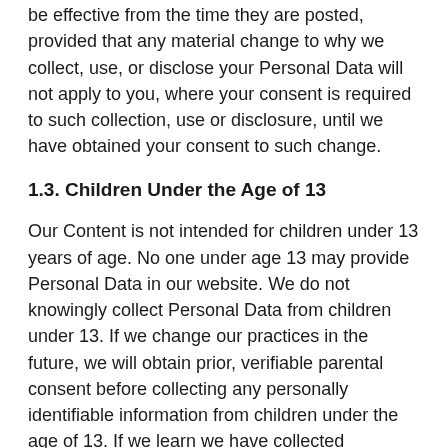be effective from the time they are posted, provided that any material change to why we collect, use, or disclose your Personal Data will not apply to you, where your consent is required to such collection, use or disclosure, until we have obtained your consent to such change.
1.3. Children Under the Age of 13
Our Content is not intended for children under 13 years of age. No one under age 13 may provide Personal Data in our website. We do not knowingly collect Personal Data from children under 13. If we change our practices in the future, we will obtain prior, verifiable parental consent before collecting any personally identifiable information from children under the age of 13. If we learn we have collected Personal Data from a child under 13 without parent consent, we will delete that information. If you believe we might have information from or about a child under 13, please